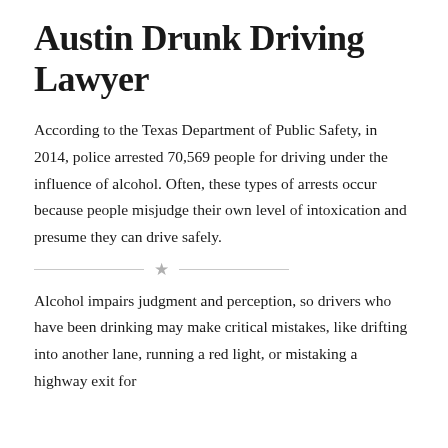Austin Drunk Driving Lawyer
According to the Texas Department of Public Safety, in 2014, police arrested 70,569 people for driving under the influence of alcohol. Often, these types of arrests occur because people misjudge their own level of intoxication and presume they can drive safely.
Alcohol impairs judgment and perception, so drivers who have been drinking may make critical mistakes, like drifting into another lane, running a red light, or mistaking a highway exit for